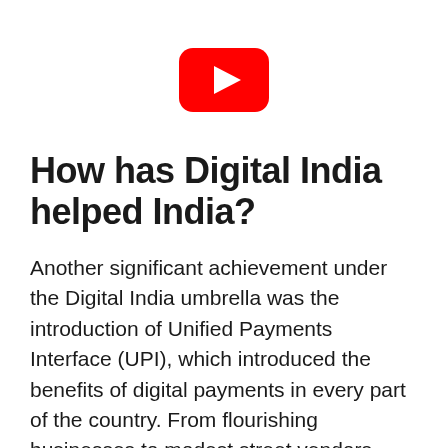[Figure (logo): YouTube logo — red rounded rectangle with white play triangle in center]
How has Digital India helped India?
Another significant achievement under the Digital India umbrella was the introduction of Unified Payments Interface (UPI), which introduced the benefits of digital payments in every part of the country. From flourishing businesses to modest street vendors, UPI is helping everyone with payments and